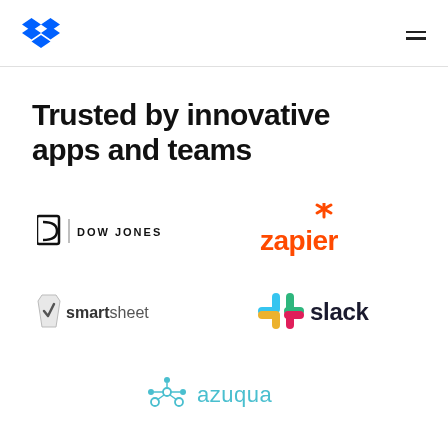Dropbox logo / hamburger menu
Trusted by innovative apps and teams
[Figure (logo): Dow Jones logo]
[Figure (logo): Zapier logo]
[Figure (logo): Smartsheet logo]
[Figure (logo): Slack logo]
[Figure (logo): Azuqua logo]